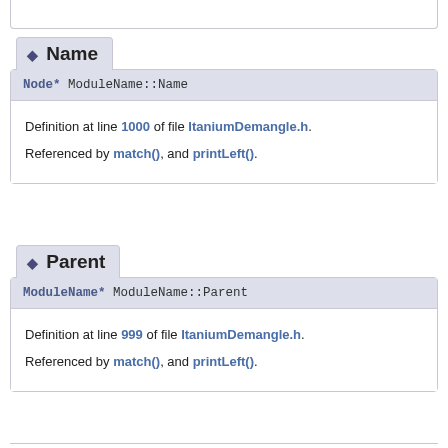◆ Name
Node* ModuleName::Name
Definition at line 1000 of file ItaniumDemangle.h.

Referenced by match(), and printLeft().
◆ Parent
ModuleName* ModuleName::Parent
Definition at line 999 of file ItaniumDemangle.h.

Referenced by match(), and printLeft().